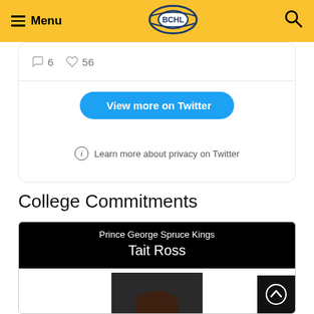Menu  BCHL  [search]
[Figure (screenshot): Twitter embedded widget showing reply count 6, like count 56, a 'View more on Twitter' button, and 'Learn more about privacy on Twitter' text]
College Commitments
[Figure (photo): Player card for Tait Ross of the Prince George Spruce Kings, showing a headshot photo of a young man with brown hair wearing a white dress shirt and dark tie, against a black background]
Prince George Spruce Kings
Tait Ross